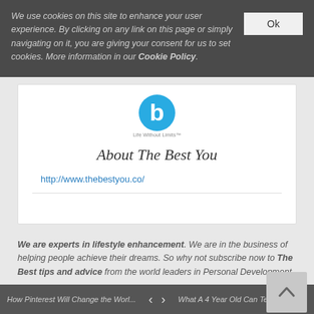We use cookies on this site to enhance your user experience. By clicking on any link on this page or simply navigating on it, you are giving your consent for us to set cookies. More information in our Cookie Policy.
[Figure (logo): Circular blue logo with white lowercase 'b' letter, with tagline 'Life Without Limits' below]
About The Best You
http://www.thebestyou.co/
We are experts in lifestyle enhancement. We are in the business of helping people achieve their dreams. So why not subscribe now to The Best tips and advice from the world leaders in Personal Development.
How Pinterest Will Change the Worl...   < >   What A 4 Year Old Can Teach You A...